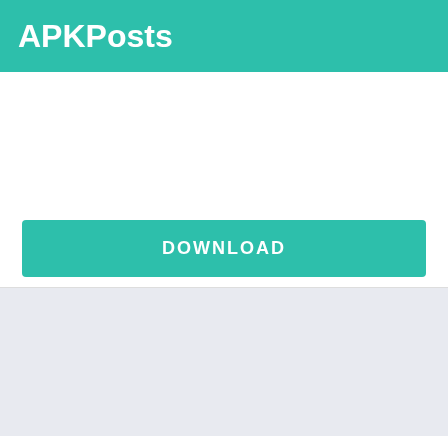APKPosts
[Figure (other): Advertisement banner area (white/blank)]
DOWNLOAD
[Figure (other): Advertisement banner area (light blue/grey background)]
Big Head Man Run is a popular Casual APK for Android. Latest Version 1.2.7 is currently available for Download. It is designed and developed by Ubiplay PTE. LTD.. Download Big Head Man Run MOD APK and enjoy ultimate features.